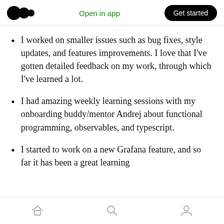Open in app  Get started
I worked on smaller issues such as bug fixes, style updates, and features improvements. I love that I've gotten detailed feedback on my work, through which I've learned a lot.
I had amazing weekly learning sessions with my onboarding buddy/mentor Andrej about functional programming, observables, and typescript.
I started to work on a new Grafana feature, and so far it has been a great learning
Home  Search  Profile